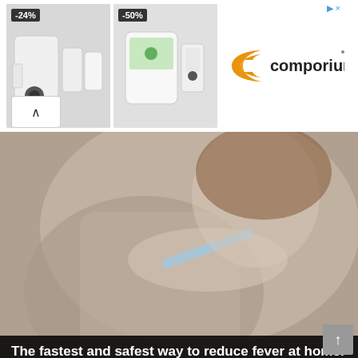[Figure (photo): Advertisement banner showing smart home security camera kits with -24% and -50% discount badges, and Comporium logo on the right]
[Figure (photo): Hero image of a woman holding a thermometer to her throat, with a dark overlay title bar reading 'The fastest and safest way to reduce fever at home.']
The fastest and safest way to reduce fever at home.
Daily mistakes lead to kidney stones.
What women need to prepare before getting pregnant.
Why do you often have chest pain, shortness of breath, and heart palpitations?
Health benefits of drinking honey and green tea.
There are several ways to relieve stress.